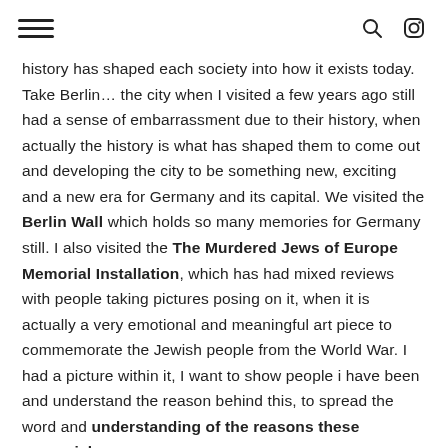[hamburger menu] [search icon] [instagram icon]
history has shaped each society into how it exists today. Take Berlin… the city when I visited a few years ago still had a sense of embarrassment due to their history, when actually the history is what has shaped them to come out and developing the city to be something new, exciting and a new era for Germany and its capital. We visited the Berlin Wall which holds so many memories for Germany still. I also visited the The Murdered Jews of Europe Memorial Installation, which has had mixed reviews with people taking pictures posing on it, when it is actually a very emotional and meaningful art piece to commemorate the Jewish people from the World War. I had a picture within it, I want to show people i have been and understand the reason behind this, to spread the word and understanding of the reasons these memorials are